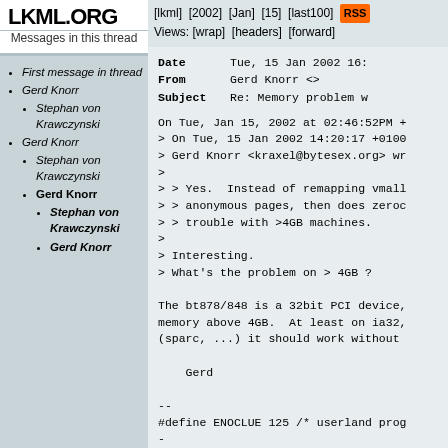LKML.ORG
Messages in this thread
First message in thread
Gerd Knorr
Stephan von Krawczynski
Gerd Knorr
Stephan von Krawczynski
Gerd Knorr
Stephan von Krawczynski
Gerd Knorr
[lkml]  [2002]  [Jan]  [15]  [last100]  RSS  Views: [wrap]  [headers]  [forward]
Date    Tue, 15 Jan 2002 16:
From    Gerd Knorr <>
Subject Re: Memory problem w
On Tue, Jan 15, 2002 at 02:46:52PM +
> On Tue, 15 Jan 2002 14:20:17 +0100
> Gerd Knorr <kraxel@bytesex.org> wr
>
> > Yes.  Instead of remapping vmall
> > anonymous pages, then does zeroc
> > trouble with >4GB machines.
>
> Interesting.
> What's the problem on > 4GB ?

The bt878/848 is a 32bit PCI device,
memory above 4GB.  At least on ia32,
(sparc, ...) it should work without

    Gerd

--
#define ENOCLUE 125 /* userland prog
-
To unsubscribe from this list: send